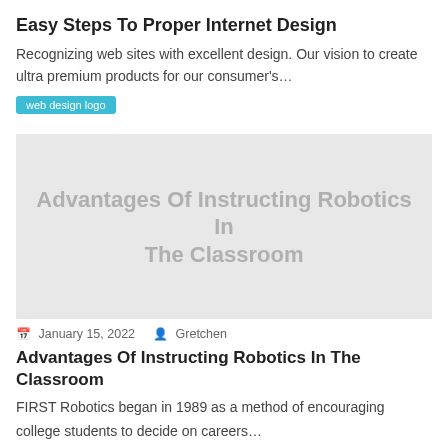Easy Steps To Proper Internet Design
Recognizing web sites with excellent design. Our vision to create ultra premium products for our consumer's…
[Figure (logo): Blue button tag labeled 'web design logo']
[Figure (photo): Light gray placeholder image with centered text: Advantages Of Instructing Robotics In The Classroom]
January 15, 2022   Gretchen
Advantages Of Instructing Robotics In The Classroom
FIRST Robotics began in 1989 as a method of encouraging college students to decide on careers…
[Figure (logo): Blue button tag labeled 'web design logo']